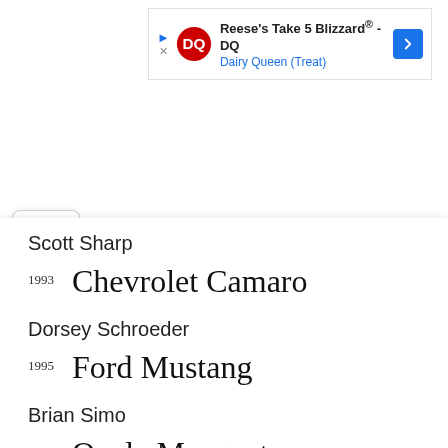[Figure (screenshot): Advertisement banner for Reese's Take 5 Blizzard at Dairy Queen (Treat) with DQ logo and blue navigation arrow]
Scott Sharp
1993 Chevrolet Camaro
Dorsey Schroeder
1995 Ford Mustang
Brian Simo
2001 Qvale Mangusta